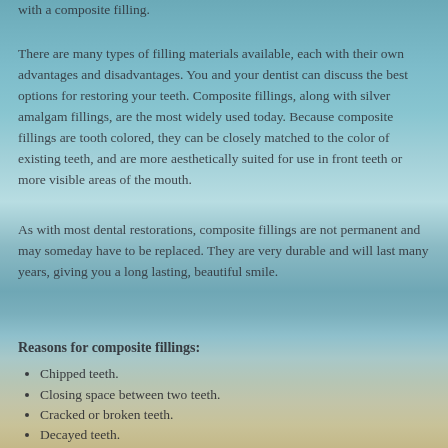with a composite filling.
There are many types of filling materials available, each with their own advantages and disadvantages.  You and your dentist can discuss the best options for restoring your teeth.  Composite fillings, along with silver amalgam fillings, are the most widely used today.  Because composite fillings are tooth colored, they can be closely matched to the color of existing teeth, and are more aesthetically suited for use in front teeth or more visible areas of the mouth.
As with most dental restorations, composite fillings are not permanent and may someday have to be replaced.  They are very durable and will last many years, giving you a long lasting, beautiful smile.
Reasons for composite fillings:
Chipped teeth.
Closing space between two teeth.
Cracked or broken teeth.
Decayed teeth.